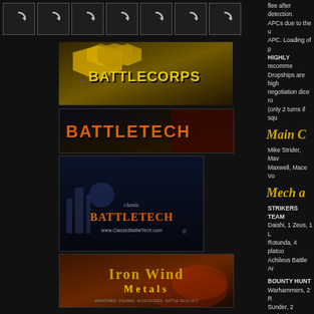[Figure (screenshot): Navigation icon bar with 7 circular arrow/loading icons in bordered boxes on dark background]
[Figure (screenshot): BattleCorps logo banner - yellow/gold hexagonal military design]
[Figure (screenshot): BattleTech logo banner - dark background with orange/red text]
[Figure (screenshot): Classic BattleTech banner with www.ClassicBattleTech.com URL]
[Figure (screenshot): Iron Wind Metals logo banner with fantasy/sci-fi art]
flee after detection. APCs due to the u APC. Loading of p HIGHLY recomme Dropships are high negotiation dice ro (only 2 turns if squ
Main C
Mike Strider, Mav Maxwell, Mace Vo
Mech a
STRIKERS TEAM Daishi, 1 Zeus, 1 L Rotunda, 4 platoo Achileus Battle Ar
BOUNTY HUNT Warhammers, 2 R Sunder, 2 Cerberi,
Map Se